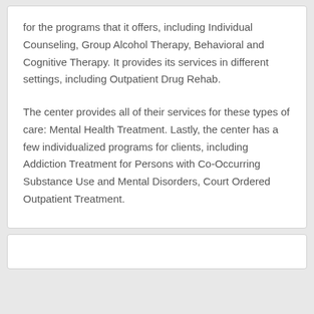for the programs that it offers, including Individual Counseling, Group Alcohol Therapy, Behavioral and Cognitive Therapy. It provides its services in different settings, including Outpatient Drug Rehab.
The center provides all of their services for these types of care: Mental Health Treatment. Lastly, the center has a few individualized programs for clients, including Addiction Treatment for Persons with Co-Occurring Substance Use and Mental Disorders, Court Ordered Outpatient Treatment.